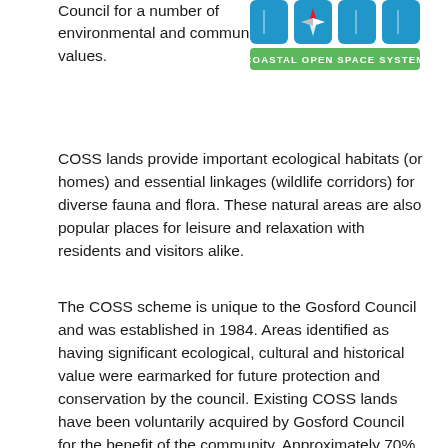Council for a number of environmental and community values.
[Figure (logo): Coastal Open Space System (COSS) logo — four blue shield/rounded square icons with a compass rose motif, green banner below reading COASTAL OPEN SPACE SYSTEM]
COSS lands provide important ecological habitats (or homes) and essential linkages (wildlife corridors) for diverse fauna and flora. These natural areas are also popular places for leisure and relaxation with residents and visitors alike.
The COSS scheme is unique to the Gosford Council and was established in 1984. Areas identified as having significant ecological, cultural and historical value were earmarked for future protection and conservation by the council. Existing COSS lands have been voluntarily acquired by Gosford Council for the benefit of the community. Approximately 70% of those lands identified have now come into public ownership for the benefit of the community. COSS is an important legacy and there is still more to do to...